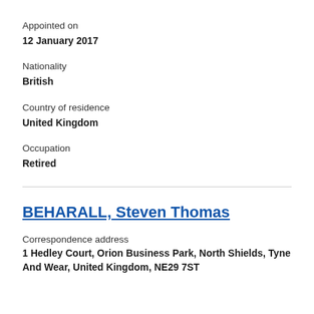Appointed on
12 January 2017
Nationality
British
Country of residence
United Kingdom
Occupation
Retired
BEHARALL, Steven Thomas
Correspondence address
1 Hedley Court, Orion Business Park, North Shields, Tyne And Wear, United Kingdom, NE29 7ST